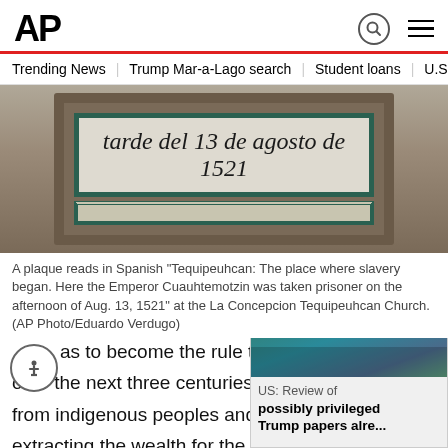AP
Trending News   Trump Mar-a-Lago search   Student loans   U.S.
[Figure (photo): Close-up of a ceramic plaque with text in Spanish reading 'tarde del 13 de agosto de 1521' with decorative border]
A plaque reads in Spanish "Tequipeuhcan: The place where slavery began. Here the Emperor Cuauhtemotzin was taken prisoner on the afternoon of Aug. 13, 1521" at the La Concepcion Tequipeuhcan Church. (AP Photo/Eduardo Verdugo)
...as to become the rule throughout over the next three centuries. Colo... from indigenous peoples and made... extracting the wealth for the bene...
[Figure (screenshot): Popup overlay showing aerial photo of Mar-a-Lago with headline: US: Review of possibly privileged Trump papers alre...]